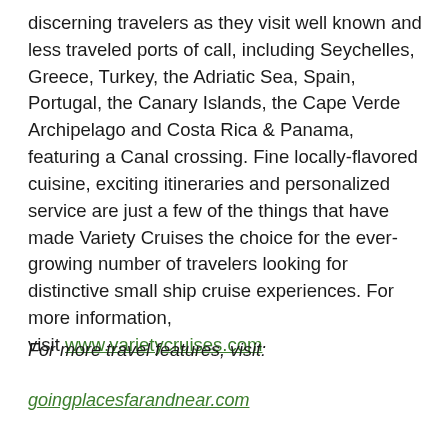discerning travelers as they visit well known and less traveled ports of call, including Seychelles, Greece, Turkey, the Adriatic Sea, Spain, Portugal, the Canary Islands, the Cape Verde Archipelago and Costa Rica & Panama, featuring a Canal crossing. Fine locally-flavored cuisine, exciting itineraries and personalized service are just a few of the things that have made Variety Cruises the choice for the ever-growing number of travelers looking for distinctive small ship cruise experiences. For more information, visit www.varietycruises.com
For more travel features, visit:
goingplacesfarandnear.com